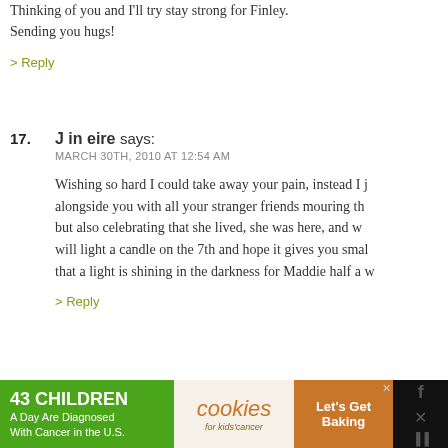Thinking of you and I'll try stay strong for Finley. Sending you hugs!
> Reply
17. J in eire says: MARCH 30TH, 2010 AT 12:54 AM
Wishing so hard I could take away your pain, instead I j... alongside you with all your stranger friends mouring th... but also celebrating that she lived, she was here, and w... will light a candle on the 7th and hope it gives you smal... that a light is shining in the darkness for Maddie half a w...
> Reply
Lucy says: MARCH 30TH, 2010 AT 7:14 AM
I couldn't say it any better than this. My heart goes o... and everyone who had their life touched by your gor... Maddie. She brought so much joy in her short time he...
[Figure (infographic): Advertisement banner: 43 CHILDREN A Day Are Diagnosed With Cancer in the U.S. | cookies for kids cancer | Let's Get Baking]